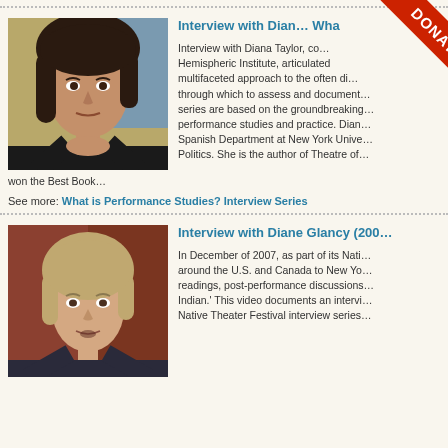[Figure (photo): Portrait photo of Diana Taylor, dark-haired woman in black blazer]
Interview with Diana Taylor: What is Performance Studies?
Interview with Diana Taylor, co-founder of the Hemispheric Institute, articulated a multifaceted approach to the often difficult task through which to assess and document... series are based on the groundbreaking work of performance studies and practice. Diana chairs the Spanish Department at New York University's Politics. She is the author of Theatre of... won the Best Book…
See more: What is Performance Studies? Interview Series
[Figure (photo): Portrait photo of Diane Glancy, older woman with short gray hair in front of red/brown background]
Interview with Diane Glancy (2007)
In December of 2007, as part of its Native Theater Festival, brought artists from around the U.S. and Canada to New York for readings, post-performance discussions... Indian.' This video documents an interview in the Native Theater Festival interview series...